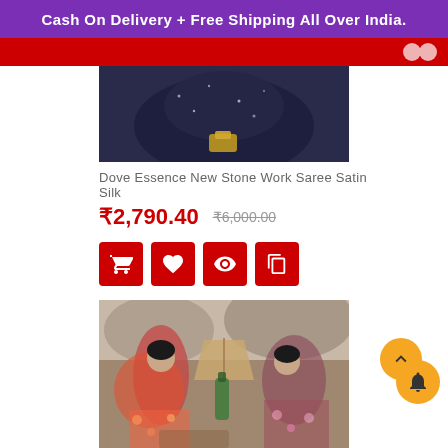Cash On Delivery + Free Shipping All Over India.
[Figure (photo): Partial product photo showing a woman in a dark embellished outfit holding something golden, cropped at top]
Dove Essence New Stone Work Saree Satin Silk
₹2,790.40  ₹6,000.00
[Figure (photo): Two women sitting outdoors near rocky terrain and a tent, wearing colorful printed sarees, with a bottle between them]